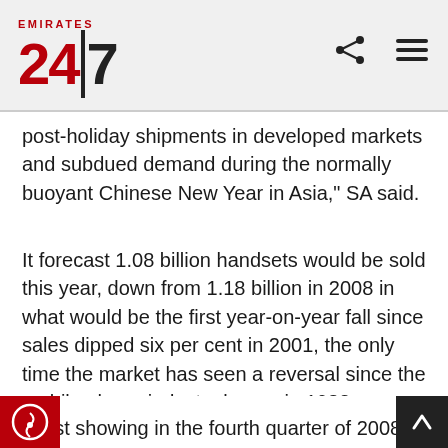Emirates 24|7
post-holiday shipments in developed markets and subdued demand during the normally buoyant Chinese New Year in Asia," SA said.
It forecast 1.08 billion handsets would be sold this year, down from 1.18 billion in 2008 in what would be the first year-on-year fall since sales dipped six per cent in 2001, the only time the market has seen a reversal since the mobile phone industry began in 1983.
The economic slowdown led to the industry's weakest showing in the fourth quarter of 2008 si